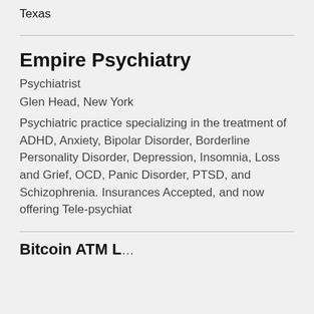Burns And Steel Buildings in Fort Worth Texas
Empire Psychiatry
Psychiatrist
Glen Head, New York
Psychiatric practice specializing in the treatment of ADHD, Anxiety, Bipolar Disorder, Borderline Personality Disorder, Depression, Insomnia, Loss and Grief, OCD, Panic Disorder, PTSD, and Schizophrenia. Insurances Accepted, and now offering Tele-psychiat
Bitcoin ATM L...